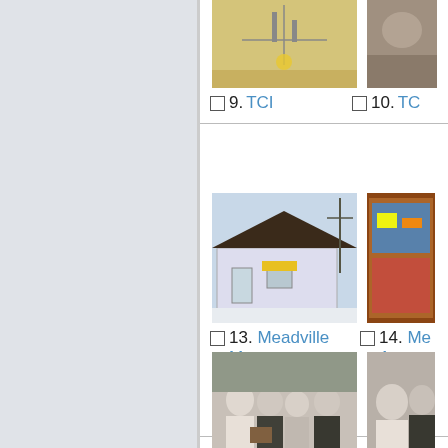[Figure (photo): Thumbnail photo item 9 (TCI) - partial cropped image visible]
9. TCI
[Figure (photo): Thumbnail photo item 10 (TCI) - partially visible at right edge]
10. TCI
[Figure (photo): Photo of Meadville Master Antenna's Converter Corner - small building with dark roof in winter]
13. Meadville Master Antenna's Converter Corner
[Figure (photo): Photo item 14 - partially visible at right edge, colorful display board]
14. Meadville Master Antenna board
[Figure (photo): Black and white photo of Les Read and William Kenny at award ceremony with others]
17. Les Read and William Kenny at New England Cable...
[Figure (photo): Photo item 18 - partially visible at right edge]
18. Les William...